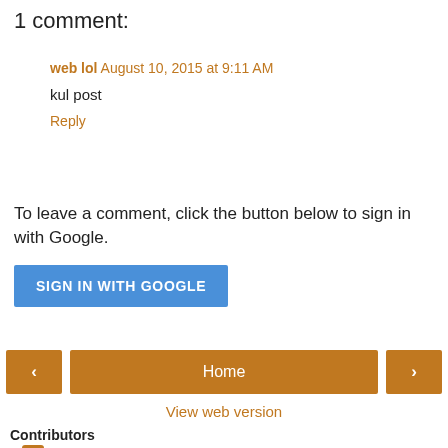1 comment:
web lol August 10, 2015 at 9:11 AM
kul post
Reply
To leave a comment, click the button below to sign in with Google.
SIGN IN WITH GOOGLE
< Home >
View web version
Contributors
Georgina Popescu
Peter Gluck